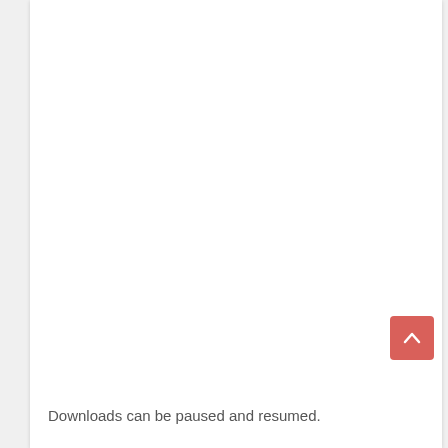[Figure (other): A red/coral rounded square button with a white upward-pointing chevron arrow, functioning as a back-to-top scroll button.]
Downloads can be paused and resumed.